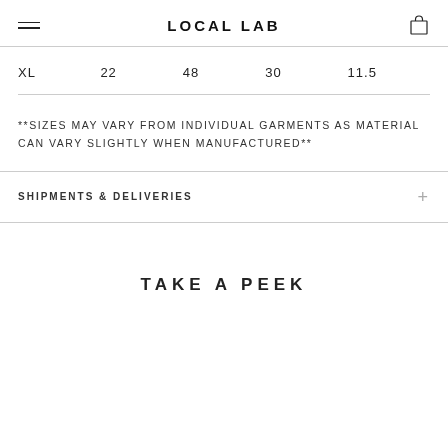LOCAL LAB
| XL | 22 | 48 | 30 | 11.5 |
**SIZES MAY VARY FROM INDIVIDUAL GARMENTS AS MATERIAL CAN VARY SLIGHTLY WHEN MANUFACTURED**
SHIPMENTS & DELIVERIES
TAKE A PEEK